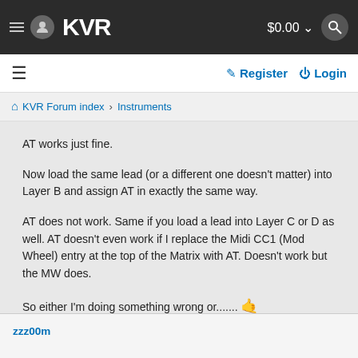KVR  $0.00
≡  Register  Login
⌂ KVR Forum index › Instruments
AT works just fine.

Now load the same lead (or a different one doesn't matter) into Layer B and assign AT in exactly the same way.

AT does not work. Same if you load a lead into Layer C or D as well. AT doesn't even work if I replace the Midi CC1 (Mod Wheel) entry at the top of the Matrix with AT. Doesn't work but the MW does.

So either I'm doing something wrong or.......
zzz00m